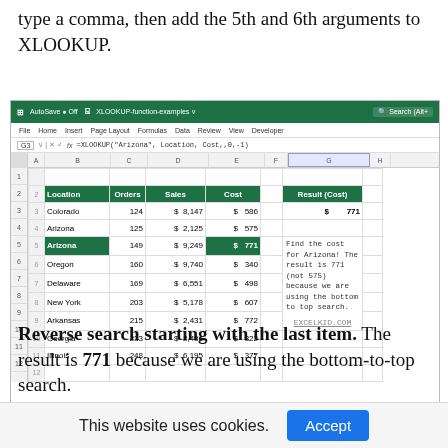type a comma, then add the 5th and 6th arguments to XLOOKUP.
[Figure (screenshot): Excel spreadsheet showing XLOOKUP function with formula =XLOOKUP("Arizona", Location, Cost,,0,-1). The spreadsheet has columns for Location, Orders, Sales, Cost with data rows for Colorado (124, $8,147, $586), Arizona (125, $2,125, $575), Arizona highlighted (149, $9,249, $771), Oregon (160, $9,740, $340), Delaware (169, $6,551, $498), New York (203, $5,178, $607), Arkansas (215, $2,431, $772), Georgia (233, $2,486, $322), Illinois (248, $6,195, $377). Result (Cost) shows 771. Annotation reads: Find the cost for Arizona! The result is 771 (not 575) because we are using the bottom to top search. EXCELKID.COM]
Reverse search starting with the last item. The result is 771 because we are using the bottom-to-top search.
This website uses cookies.  Accept